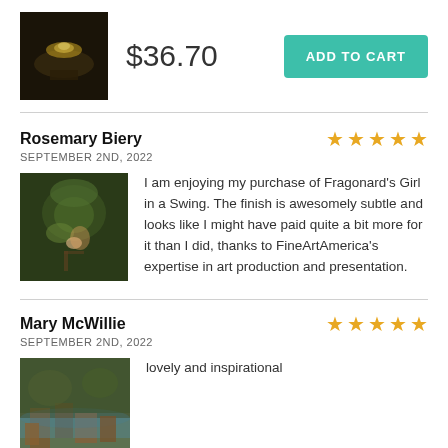[Figure (photo): Small thumbnail of a dark painting showing a glowing cityscape at night]
$36.70
ADD TO CART
Rosemary Biery
SEPTEMBER 2ND, 2022
[Figure (photo): Painting of a girl on a swing in a lush garden (Fragonard's Girl in a Swing)]
I am enjoying my purchase of Fragonard's Girl in a Swing. The finish is awesomely subtle and looks like I might have paid quite a bit more for it than I did, thanks to FineArtAmerica's expertise in art production and presentation.
Mary McWillie
SEPTEMBER 2ND, 2022
[Figure (photo): Painting of boats moored at a canal or harbor with buildings and trees]
lovely and inspirational